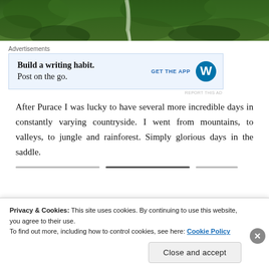[Figure (photo): Aerial or landscape photo of green forested hillside with waterfall, cropped at top of page]
Advertisements
[Figure (screenshot): WordPress advertisement: 'Build a writing habit. Post on the go.' with GET THE APP button and WordPress logo on blue background]
After Purace I was lucky to have several more incredible days in constantly varying countryside. I went from mountains, to valleys, to jungle and rainforest. Simply glorious days in the saddle.
Privacy & Cookies: This site uses cookies. By continuing to use this website, you agree to their use. To find out more, including how to control cookies, see here: Cookie Policy
Close and accept